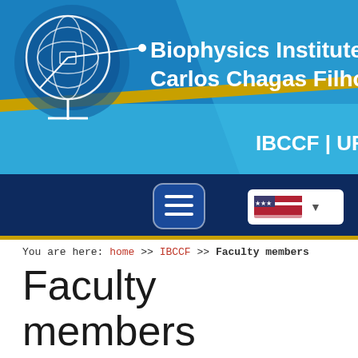[Figure (screenshot): Biophysics Institute Carlos Chagas Filho (IBCCF|UFRJ) website header banner with blue background, gold diagonal stripe, institute logo/instrument illustration on the left, institute name text on the right, and IBCCF|UFRJ identifier at bottom right.]
[Figure (screenshot): Dark blue navigation bar with hamburger menu button on the left and US flag language selector button on the right.]
You are here: home >> IBCCF >> Faculty members
Faculty members
Corpo Docente do IBCCF
Emeritus Professors